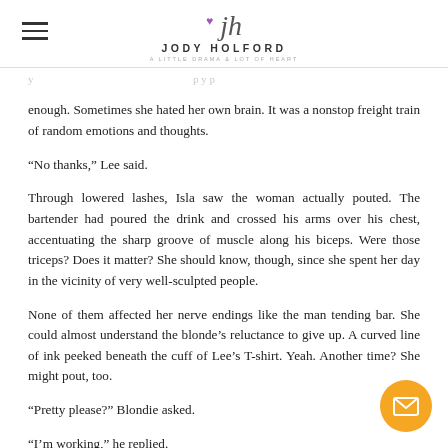Jody Holford
enough. Sometimes she hated her own brain. It was a nonstop freight train of random emotions and thoughts.
“No thanks,” Lee said.

Through lowered lashes, Isla saw the woman actually pouted. The bartender had poured the drink and crossed his arms over his chest, accentuating the sharp groove of muscle along his biceps. Were those triceps? Does it matter? She should know, though, since she spent her day in the vicinity of very well-sculpted people.

None of them affected her nerve endings like the man tending bar. She could almost understand the blonde’s reluctance to give up. A curved line of ink peeked beneath the cuff of Lee’s T-shirt. Yeah. Another time? She might pout, too.

“Pretty please?” Blondie asked.
“I’m working,” he replied.
“Not like you need to be behind the bar,” she pushed.